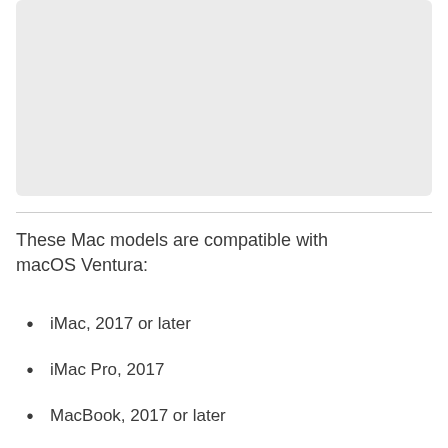[Figure (other): Gray placeholder image area at top of page]
These Mac models are compatible with macOS Ventura:
iMac, 2017 or later
iMac Pro, 2017
MacBook, 2017 or later